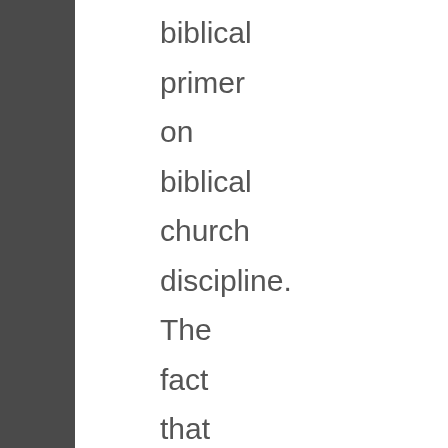biblical primer on biblical church discipline. The fact that so many churches have so many morally failing pastors is due in part to the